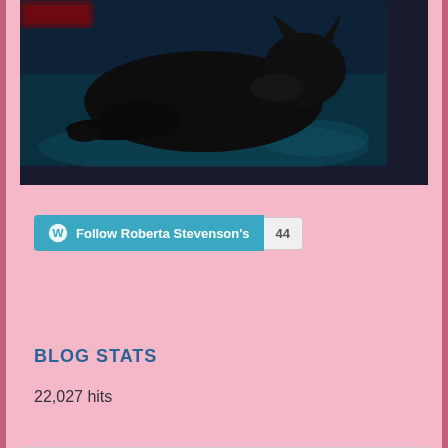[Figure (photo): A black cat lying on a dark blue/teal surface, photographed in low light conditions. The cat is dark-furred and appears relaxed.]
Follow Roberta Stevenson's  44
BLOG STATS
22,027 hits